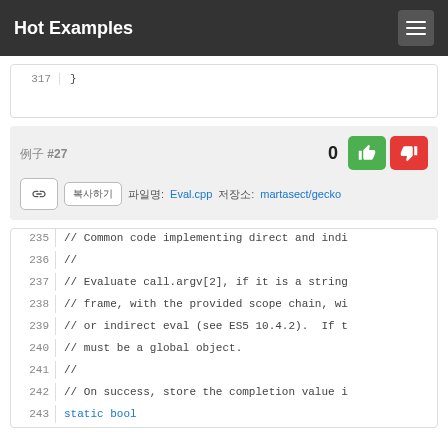Hot Examples
317  }
例子 #27
文件名: Eval.cpp  存储库: martasect/gecko
235  // Common code implementing direct and indi
236  //
237  // Evaluate call.argv[2], if it is a string
238  // frame, with the provided scope chain, wi
239  // or indirect eval (see ES5 10.4.2).  If t
240  // must be a global object.
241  //
242  // On success, store the completion value i
243  static bool